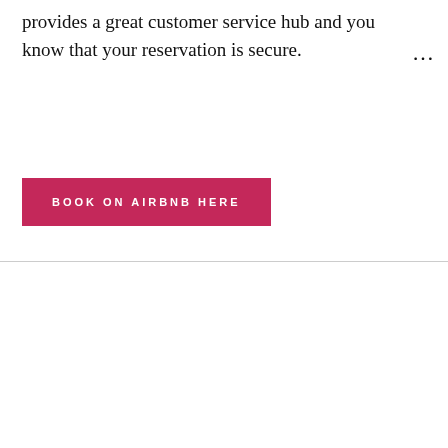provides a great customer service hub and you know that your reservation is secure.
BOOK ON AIRBNB HERE
THIS MAY INTEREST YOU